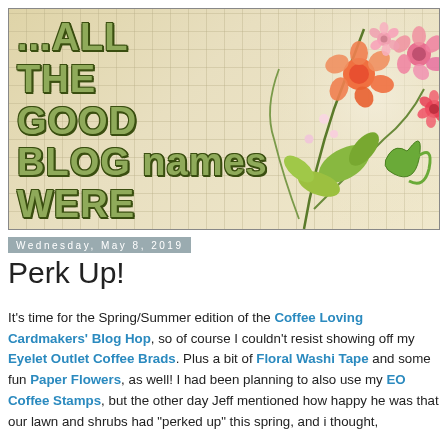[Figure (illustration): Blog header banner with graph-paper background, decorative green italic text reading '...all the good blog names were taken...' and floral illustrations (pink, orange, red flowers with green leaves) on the right side.]
Wednesday, May 8, 2019
Perk Up!
It's time for the Spring/Summer edition of the Coffee Loving Cardmakers' Blog Hop, so of course I couldn't resist showing off my Eyelet Outlet Coffee Brads. Plus a bit of Floral Washi Tape and some fun Paper Flowers, as well! I had been planning to also use my EO Coffee Stamps, but the other day Jeff mentioned how happy he was that our lawn and shrubs had "perked up" this spring, and i thought,